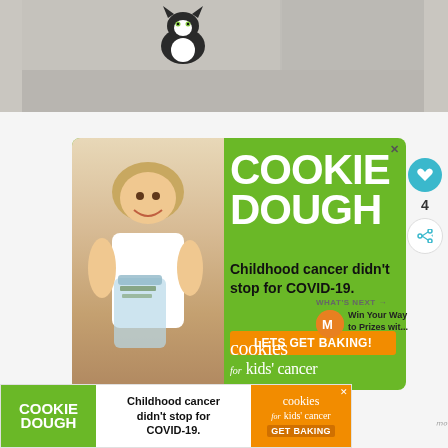[Figure (photo): A black and white cat sitting on a gray upholstered sofa/couch]
[Figure (infographic): Cookie Dough advertisement for Cookies for Kids Cancer charity. Green background with a smiling girl holding a jar of cash. Text: COOKIE DOUGH, Childhood cancer didn't stop for COVID-19. LETS GET BAKING! cookies for kids cancer]
[Figure (infographic): Bottom banner ad: COOKIE DOUGH - Childhood cancer didn't stop for COVID-19. Cookies for kids cancer GET BAKING]
WHAT'S NEXT → Win Your Way to Prizes wit...
4